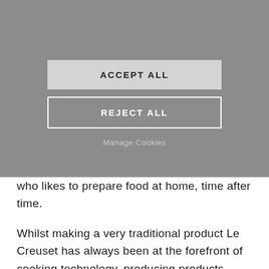[Figure (screenshot): Cookie consent overlay with two buttons: ACCEPT ALL (grey filled) and REJECT ALL (white outlined), and a 'Manage Cookies' text link below]
who likes to prepare food at home, time after time.
Whilst making a very traditional product Le Creuset has always been at the forefront of cooking technology, producing products which suit the way that styles of cooking change and develop. Le Creuset has a pot, pan or dish in a choice of materials and colour, whether it is Cast Iron, 3-Ply Stainless Steel, Toughened Non-Stick or Stoneware,